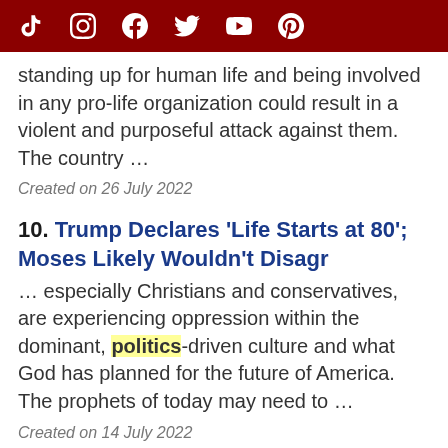[Social media icons: TikTok, Instagram, Facebook, Twitter, YouTube, Pinterest]
standing up for human life and being involved in any pro-life organization could result in a violent and purposeful attack against them. The country …
Created on 26 July 2022
10. Trump Declares 'Life Starts at 80'; Moses Likely Wouldn't Disagr
… especially Christians and conservatives, are experiencing oppression within the dominant, politics-driven culture and what God has planned for the future of America. The prophets of today may need to …
Created on 14 July 2022
11. Founder of America's Frontline Doctors Reveals Truth About Jan.
Dr. Simone Gold, founder of America's Frontline Doctors, says that American citizens have lost civil